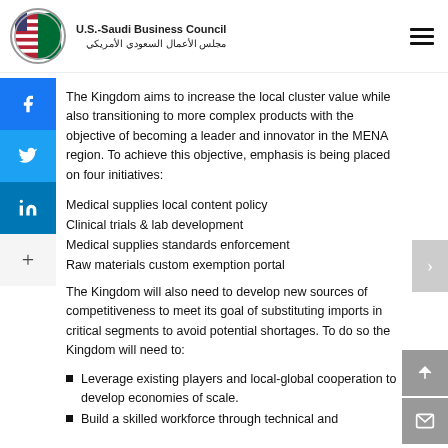U.S.-Saudi Business Council / مجلس الأعمال السعودي الأمريكي
The Kingdom aims to increase the local cluster value while also transitioning to more complex products with the objective of becoming a leader and innovator in the MENA region. To achieve this objective, emphasis is being placed on four initiatives:
Medical supplies local content policy
Clinical trials & lab development
Medical supplies standards enforcement
Raw materials custom exemption portal
The Kingdom will also need to develop new sources of competitiveness to meet its goal of substituting imports in critical segments to avoid potential shortages. To do so the Kingdom will need to:
Leverage existing players and local-global cooperation to develop economies of scale.
Build a skilled workforce through technical and